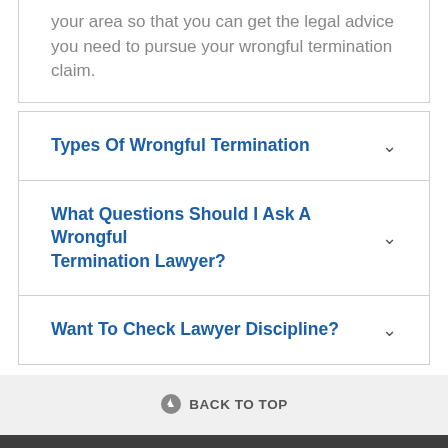your area so that you can get the legal advice you need to pursue your wrongful termination claim.
Types Of Wrongful Termination
What Questions Should I Ask A Wrongful Termination Lawyer?
Want To Check Lawyer Discipline?
BACK TO TOP
[Figure (other): Dark footer bar with orange and gray icons at the bottom of the page]